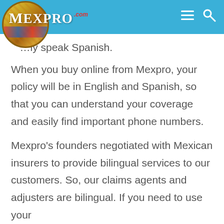Mexpro.com
...ly only speak Spanish.
When you buy online from Mexpro, your policy will be in English and Spanish, so that you can understand your coverage and easily find important phone numbers.
Mexpro's founders negotiated with Mexican insurers to provide bilingual services to our customers. So, our claims agents and adjusters are bilingual. If you need to use your